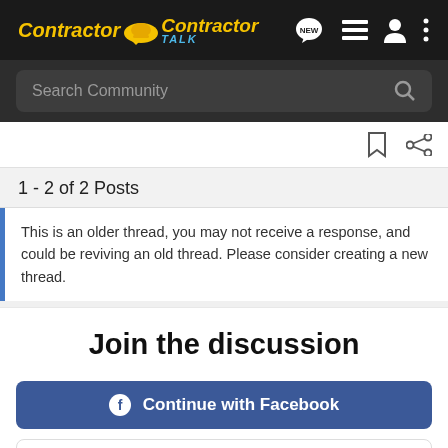ContractorTalk - New posts, forum list, profile, menu
Search Community
1 - 2 of 2 Posts
This is an older thread, you may not receive a response, and could be reviving an old thread. Please consider creating a new thread.
Join the discussion
Continue with Facebook
Continue with Google